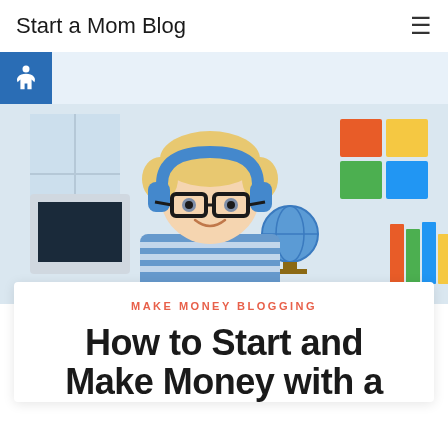Start a Mom Blog
[Figure (photo): Young smiling boy with large black-rimmed glasses and blue headphones sitting at a desk with a computer, colorful sticky notes and a globe in the background]
MAKE MONEY BLOGGING
How to Start and Make Money with a